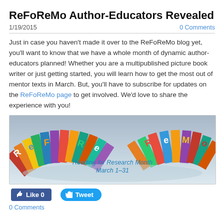ReFoReMo Author-Educators Revealed
1/19/2015
0 Comments
Just in case you haven't made it over to the ReFoReMo blog yet, you'll want to know that we have a whole month of dynamic author-educators planned!  Whether you are a multipublished picture book writer or just getting started, you will learn how to get the most out of mentor texts in March.  But, you'll have to subscribe for updates on the ReFoReMo page to get involved.  We'd love to share the experience with you!
[Figure (photo): Banner photo of colorful children's picture books arranged in an arc spelling out ReFoReMo, with text Reading for Research Month March 1-31]
Like 0
Tweet
0 Comments